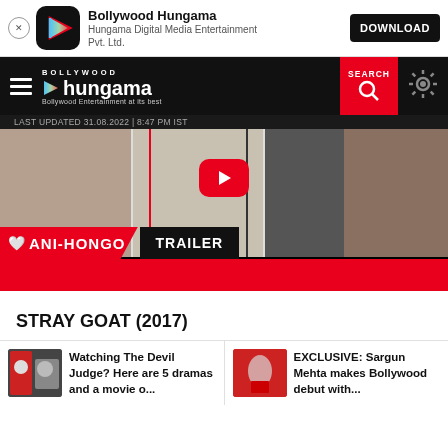[Figure (screenshot): Bollywood Hungama app download banner with app icon, name, publisher, and DOWNLOAD button]
[Figure (screenshot): Bollywood Hungama website navigation bar with hamburger menu, logo, search button, and settings gear icon. Last updated: 31.08.2022 | 8:47 PM IST]
[Figure (screenshot): ANI-HONGO TRAILER video player screenshot with multiple panels showing actors and a red YouTube-style play button]
STRAY GOAT (2017)
[Figure (screenshot): News card: Watching The Devil Judge? Here are 5 dramas and a movie o...]
[Figure (screenshot): News card: EXCLUSIVE: Sargun Mehta makes Bollywood debut with...]